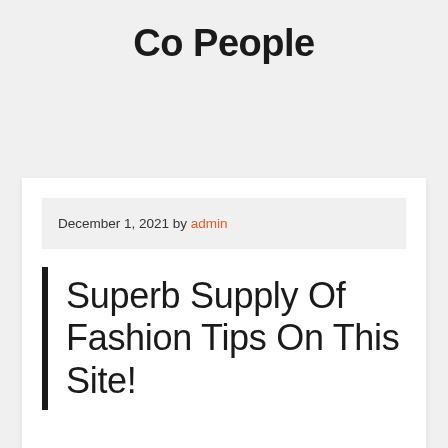Co People
December 1, 2021 by admin
Superb Supply Of Fashion Tips On This Site!